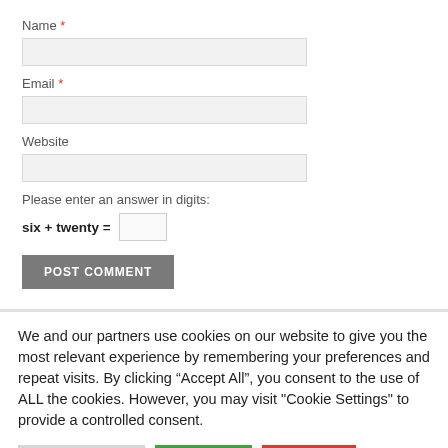Name *
Email *
Website
Please enter an answer in digits:
POST COMMENT
We and our partners use cookies on our website to give you the most relevant experience by remembering your preferences and repeat visits. By clicking “Accept All”, you consent to the use of ALL the cookies. However, you may visit "Cookie Settings" to provide a controlled consent.
Cookie Settings
Accept All
Reject All